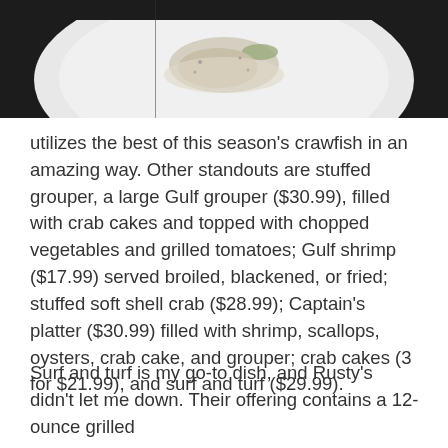[Figure (photo): A white plate with a food item, likely a seafood dish, photographed from above. The image is cropped showing only the top portion of the plate against a dark background.]
utilizes the best of this season's crawfish in an amazing way. Other standouts are stuffed grouper, a large Gulf grouper ($30.99), filled with crab cakes and topped with chopped vegetables and grilled tomatoes; Gulf shrimp ($17.99) served broiled, blackened, or fried; stuffed soft shell crab ($28.99); Captain's platter ($30.99) filled with shrimp, scallops, oysters, crab cake, and grouper; crab cakes (3 for $21.99), and surf and turf ($29.99).
Surf and turf is my go-to dish, and Rusty's didn't let me down. Their offering contains a 12-ounce grilled